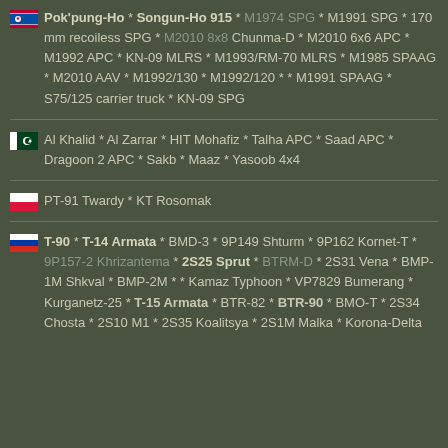🇰🇵 Pok'pung-Ho * Songun-Ho 915 * M1974 SPG * M1991 SPG * 170 mm recoiless SPG * M2010 8x8 Chunma-D * M2010 6x6 APC * M1992 APC * KN-09 MLRS * M1993/RM-70 MLRS * M1985 SPAAG * M2010 AAV * M1992/130 * M1992/120 * * M1991 SPAAG * S75/125 carrier truck * KN-09 SPG
🇵🇰 Al Khalid * Al Zarrar * HIT Mohafiz * Talha APC * Saad APC * Dragoon 2 APC * Sakb * Maaz * Yasoob 4x4
🇵🇱 PT-91 Twardy * KT Rosomak
🇷🇺 T-90 * T-14 Armata * BMD-3 * 9P149 Shturm * 9P162 Kornet-T * 9P157-2 Khrizantema * 2S25 Sprut * BTRM-D * 2S31 Vena * BMP-1M Shkval * BMP-2M * * Kamaz Typhoon * VP7829 Bumerang * Kurganetz-25 * T-15 Armata * BTR-82 * BTR-90 * BMO-T * 2S34 Chosta * 2S10 M1 * 2S35 Koalitsya * 2S1M Malka * Korona-Delta